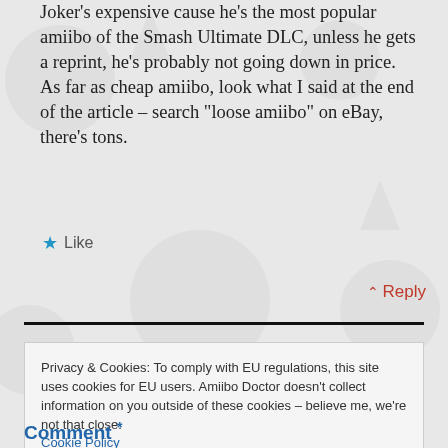Joker's expensive cause he's the most popular amiibo of the Smash Ultimate DLC, unless he gets a reprint, he's probably not going down in price.
As far as cheap amiibo, look what I said at the end of the article – search "loose amiibo" on eBay, there's tons.
★ Like
^ Reply
Privacy & Cookies: To comply with EU regulations, this site uses cookies for EU users. Amiibo Doctor doesn't collect information on you outside of these cookies – believe me, we're not that close. Cookie Policy
It's all good
Comment *